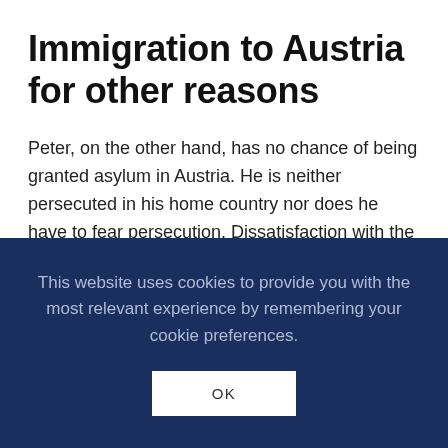Immigration to Austria for other reasons
Peter, on the other hand, has no chance of being granted asylum in Austria. He is neither persecuted in his home country nor does he have to fear persecution. Dissatisfaction with the general political circumstances in a country is not a reason for
This website uses cookies to provide you with the most relevant experience by remembering your cookie preferences.
OK